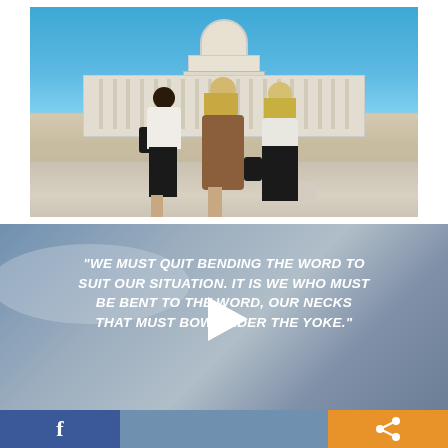[Figure (photo): Three women viewed from behind with arms around each other, facing the United States Capitol building on a clear blue sky day. Left woman has dark hair, white top, black skirt, and black bag. Middle woman has blonde hair and a floral/leopard print dress. Right woman has blonde hair, white top, and black pants with a floral bag.]
[Figure (screenshot): Video thumbnail with a quote on a cloudy blue-grey sky background. Quote reads: 'We must quit bending the word to suit our situation. It is we who must be bent to the word, our necks that must bow under the yoke.' A white play button triangle is centered over the image.]
“WE MUST QUIT BENDING THE WORD TO SUIT OUR SITUATION. IT IS WE WHO MUST BE BENT TO THE WORD, OUR NECKS THAT MUST BOW UNDER THE YOKE.”